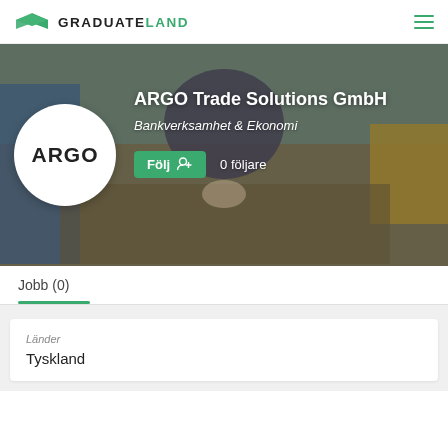GRADUATELAND
[Figure (screenshot): Hero banner image showing people sitting around a table with coffee cups, with ARGO company logo circle on the left and company info overlay]
ARGO Trade Solutions GmbH
Bankverksamhet & Ekonomi
Följ   0 följare
Jobb (0)
Länder
Tyskland